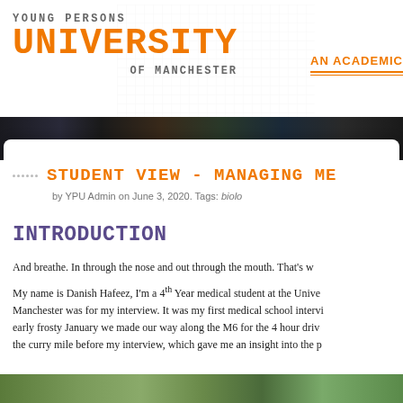YOUNG PERSONS UNIVERSITY OF MANCHESTER — AN ACADEMIC
STUDENT VIEW - MANAGING ME
by YPU Admin on June 3, 2020. Tags: biolo
INTRODUCTION
And breathe. In through the nose and out through the mouth. That's w
My name is Danish Hafeez, I'm a 4th Year medical student at the Unive Manchester was for my interview. It was my first medical school intervi early frosty January we made our way along the M6 for the 4 hour driv the curry mile before my interview, which gave me an insight into the p
[Figure (photo): Bottom cropped photo strip showing green/nature imagery]